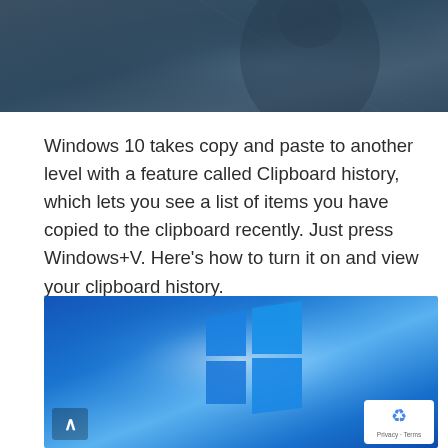[Figure (photo): Dark blue-grey header image background, partially visible person/silhouette]
Windows 10 takes copy and paste to another level with a feature called Clipboard history, which lets you see a list of items you have copied to the clipboard recently. Just press Windows+V. Here's how to turn it on and view your clipboard history.
[Figure (screenshot): Windows logo on a blue gradient background, with a white up-arrow button on the bottom left and a reCAPTCHA badge on the bottom right]